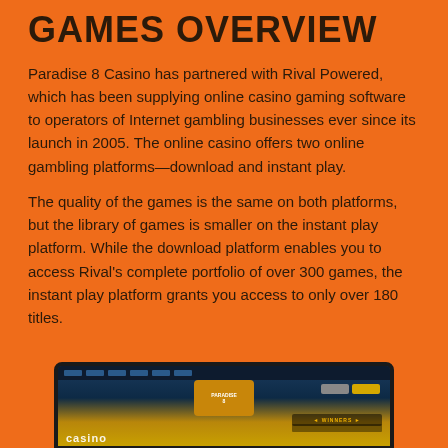GAMES OVERVIEW
Paradise 8 Casino has partnered with Rival Powered, which has been supplying online casino gaming software to operators of Internet gambling businesses ever since its launch in 2005. The online casino offers two online gambling platforms—download and instant play.
The quality of the games is the same on both platforms, but the library of games is smaller on the instant play platform. While the download platform enables you to access Rival's complete portfolio of over 300 games, the instant play platform grants you access to only over 180 titles.
[Figure (screenshot): Screenshot of Paradise 8 Casino website showing the casino interface with logo, navigation, login/join buttons, and a winners bar at the bottom]